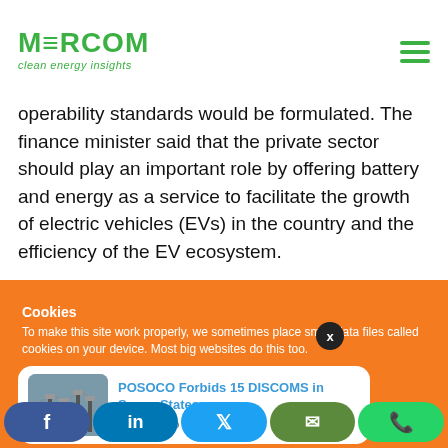MERCOM clean energy insights
operability standards would be formulated. The finance minister said that the private sector should play an important role by offering battery and energy as a service to facilitate the growth of electric vehicles (EVs) in the country and the efficiency of the EV ecosystem.
Cookies
To make this site work properly, we sometimes place small data files called cookies on your device. Most big websites do this too.
[Figure (screenshot): Article card showing 'POSOCO Forbids 15 DISCOMS in Seven States' with substation photo and timestamp '23 hours ago']
[Figure (infographic): Social sharing bar with Facebook, LinkedIn, Twitter, Email, and WhatsApp buttons]